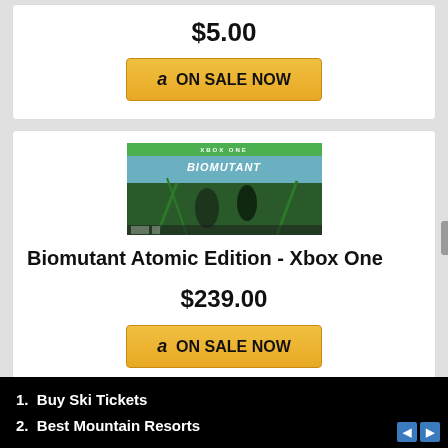$5.00
[Figure (other): Amazon ON SALE NOW button (gold/yellow gradient)]
[Figure (photo): Biomutant Atomic Edition Xbox One game box art with green Xbox One banner and action scene]
Biomutant Atomic Edition - Xbox One
$239.00
[Figure (other): Amazon ON SALE NOW button (gold/yellow gradient)]
1. Buy Ski Tickets
2. Best Mountain Resorts